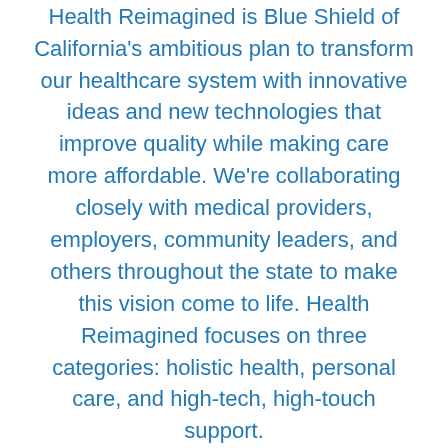Health Reimagined is Blue Shield of California's ambitious plan to transform our healthcare system with innovative ideas and new technologies that improve quality while making care more affordable. We're collaborating closely with medical providers, employers, community leaders, and others throughout the state to make this vision come to life. Health Reimagined focuses on three categories: holistic health, personal care, and high-tech, high-touch support.